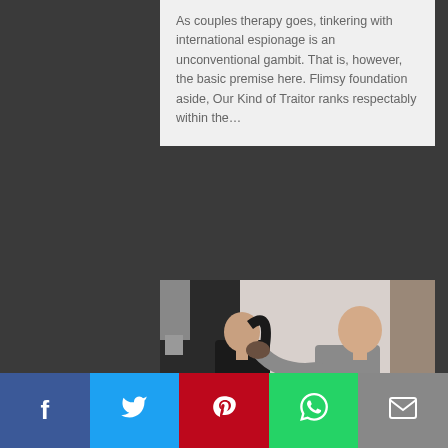As couples therapy goes, tinkering with international espionage is an unconventional gambit. That is, however, the basic premise here. Flimsy foundation aside, Our Kind of Traitor ranks respectably within the...
[Figure (photo): A woman with a dark ponytail and a man in a grey sweater facing each other; the man has his hand raised toward the woman's neck/face in what appears to be a dramatic scene from the film Nymphomaniac: Volume II]
Nymphomaniac: Volume II – Review
by Christopher Brown • February 09, 2014